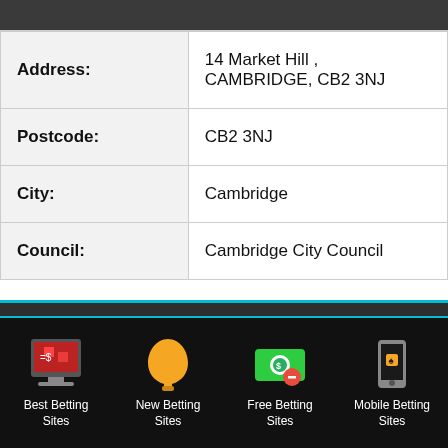| Field | Value |
| --- | --- |
| Address: | 14 Market Hill ,
CAMBRIDGE, CB2 3NJ |
| Postcode: | CB2 3NJ |
| City: | Cambridge |
| Council: | Cambridge City Council |
We use cookies to ensure that we give you the best experience on our website. If you continue to use this site we will assume that you are happy with it.
Best Betting Sites
New Betting Sites
Free Betting Sites
Mobile Betting Sites